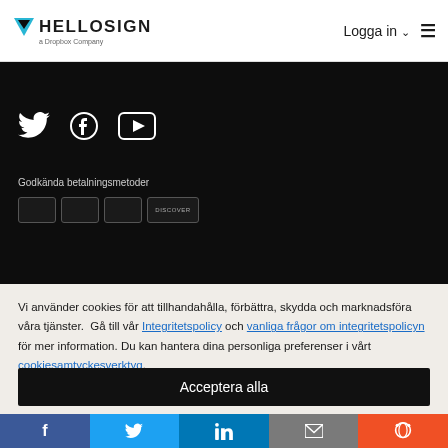HelloSign – a Dropbox Company | Logga in
[Figure (logo): HelloSign logo with downward triangle in teal, text HELLOSIGN, subtitle 'a Dropbox Company']
[Figure (infographic): Social media icons: Twitter, Facebook, YouTube on dark background]
Godkända betalningsmetoder
Vi använder cookies för att tillhandahålla, förbättra, skydda och marknadsföra våra tjänster.  Gå till vår Integritetspolicy och vanliga frågor om integritetspolicyn för mer information. Du kan hantera dina personliga preferenser i vårt cookiesamtyckesverktyg.
Acceptera alla
Avvisa
f  Twitter  in  email  Reddit social share bar